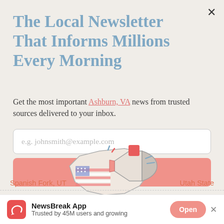The Local Newsletter That Informs Millions Every Morning
Get the most important Ashburn, VA news from trusted sources delivered to your inbox.
e.g. johnsmith@example.com
Sign up
[Figure (illustration): Illustration of a megaphone/USA map with notification icons]
Spanish Fork, UT
Utah State
NewsBreak App
Trusted by 45M users and growing
Open